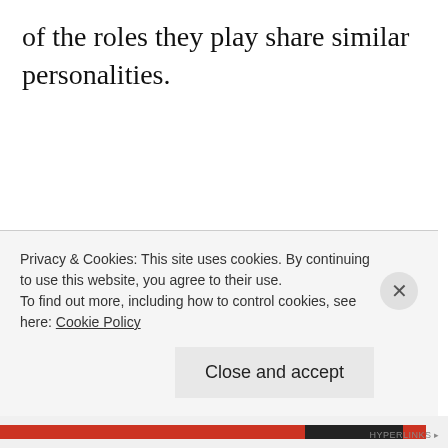of the roles they play share similar personalities.
So in that sense, 'typecast' doesn't sound so bad. There's nothing wrong with putting a fresh spin to a 'classic' role. I think as long as Actor A can still bring something new to the
Privacy & Cookies: This site uses cookies. By continuing to use this website, you agree to their use.
To find out more, including how to control cookies, see here: Cookie Policy
Close and accept